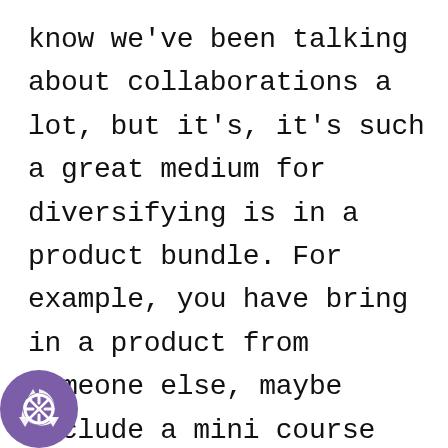know we've been talking about collaborations a lot, but it's, it's such a great medium for diversifying is in a product bundle. For example, you have bring in a product from someone else, maybe include a mini course from another creator. Who's in a similar complimentary industry to you maybe include products from, again, another small shop because your products go so well together. For example, if you're doing really, really, really cute custom umblers like, Oh, so fabulous.com. She has
[Figure (illustration): Purple circle icon with a recycling/loading symbol in the bottom-left corner of the page]